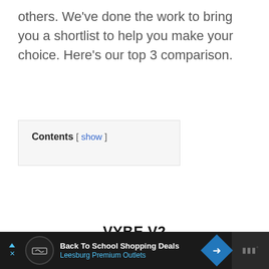others. We've done the work to bring you a shortlist to help you make your choice. Here's our top 3 comparison.
Contents [ show ]
VYBE V2
$59
Back To School Shopping Deals Leesburg Premium Outlets